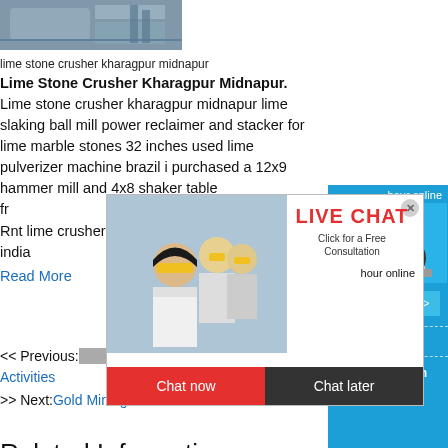[Figure (photo): Industrial machinery photo, gray tones]
lime stone crusher kharagpur midnapur
Lime Stone Crusher Kharagpur Midnapur. Lime stone crusher kharagpur midnapur lime slaking ball mill power reclaimer and stacker for lime marble stones 32 inches used lime pulverizer machine brazil i purchased a 12x9 hammer mill and 4x8 shaker table fre...VE. Rnt lime crusher in india...
Read More
[Figure (screenshot): Live Chat popup overlay with workers in hard hats, Chat now and Chat later buttons]
[Figure (screenshot): Right sidebar with blue background, crusher machine image, hour online text, Click me to chat button, Enquiry section, limingjlmofen text]
<< Previous: [Mining Mineral Processing] Activities
>> Next: Gold Mining Area In Obuasi Gha...
Related Information:
suppliers of crusher parts in india